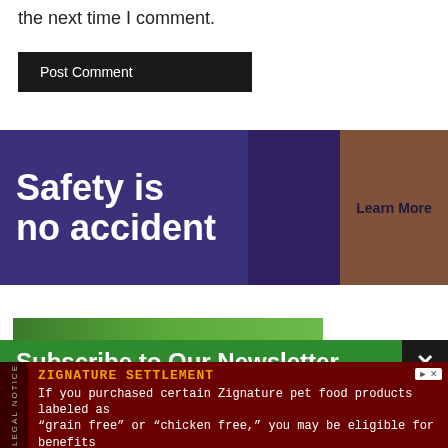the next time I comment.
Post Comment
[Figure (infographic): Purple banner advertisement with text 'Safety is no accident' and an orange 'Learn Mo[re]' button on the right side.]
[Figure (photo): Green-toned image strip showing a hand, partial view.]
Subscribe to Our Newsletter
Don't miss out on daily news from TheTrucker.com! Enter your email address and have our newsletters and email alerts sent straight to you will email all for f...
[Figure (infographic): Dark red legal notice advertisement banner. Title: 'ZIGNATURE SETTLEMENT'. Body: 'If you purchased certain Zignature pet food products labeled as "grain free" or "chicken free," you may be eligible for benefits'. Side label: 'LEGAL NOTICE'.]